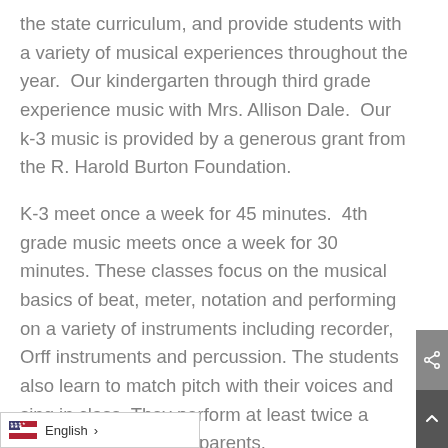the state curriculum, and provide students with a variety of musical experiences throughout the year.  Our kindergarten through third grade experience music with Mrs. Allison Dale.  Our k-3 music is provided by a generous grant from the R. Harold Burton Foundation.
K-3 meet once a week for 45 minutes.  4th grade music meets once a week for 30 minutes. These classes focus on the musical basics of beat, meter, notation and performing on a variety of instruments including recorder, Orff instruments and percussion. The students also learn to match pitch with their voices and sing in class. They perform at least twice a year for students and parents.